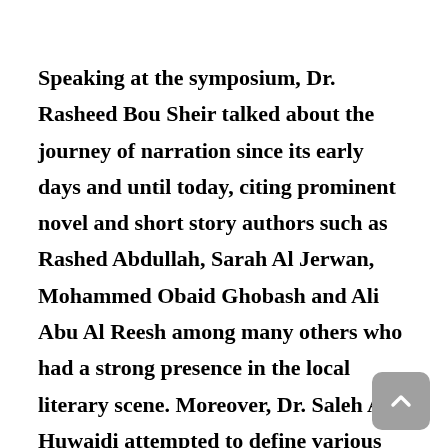Speaking at the symposium, Dr. Rasheed Bou Sheir talked about the journey of narration since its early days and until today, citing prominent novel and short story authors such as Rashed Abdullah, Sarah Al Jerwan, Mohammed Obaid Ghobash and Ali Abu Al Reesh among many others who had a strong presence in the local literary scene. Moreover, Dr. Saleh Al Huwaidi attempted to define various narrative genres and highlighted their most prominent features and characteristics. Furthermore, Dr. Mariam Al